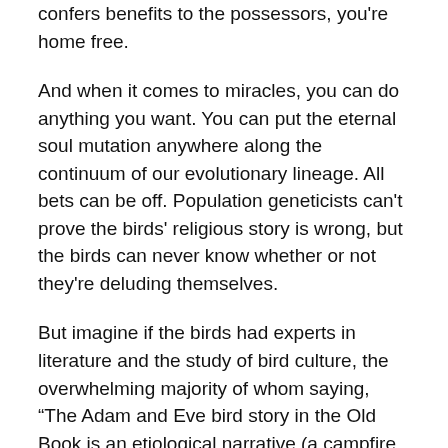confers benefits to the possessors, you're home free.
And when it comes to miracles, you can do anything you want. You can put the eternal soul mutation anywhere along the continuum of our evolutionary lineage. All bets can be off. Population geneticists can't prove the birds' religious story is wrong, but the birds can never know whether or not they're deluding themselves.
But imagine if the birds had experts in literature and the study of bird culture, the overwhelming majority of whom saying, “The Adam and Eve bird story in the Old Book is an etiological narrative (a campfire story about origins). It doesn't need to be read literally.”
Now things get complicated again. Would it be wise of the birds who are religious and accept evolution to go against both the geneticists and the cultural and literary